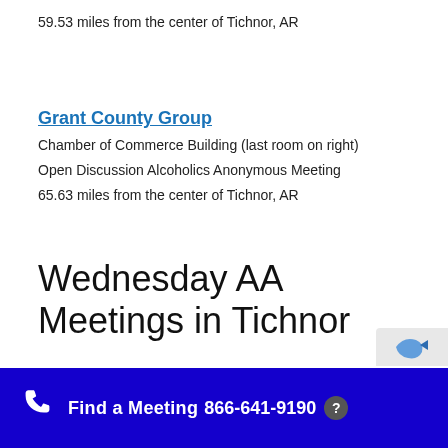59.53 miles from the center of Tichnor, AR
Grant County Group
Chamber of Commerce Building (last room on right)
Open Discussion Alcoholics Anonymous Meeting
65.63 miles from the center of Tichnor, AR
Wednesday AA Meetings in Tichnor
Find a Meeting  866-641-9190